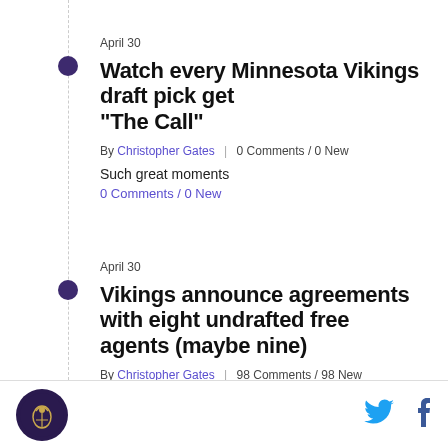April 30
Watch every Minnesota Vikings draft pick get “The Call”
By Christopher Gates | 0 Comments / 0 New
Such great moments
0 Comments / 0 New
April 30
Vikings announce agreements with eight undrafted free agents (maybe nine)
By Christopher Gates | 98 Comments / 98 New
It looks like something’s changed
98 Comments / 98 New